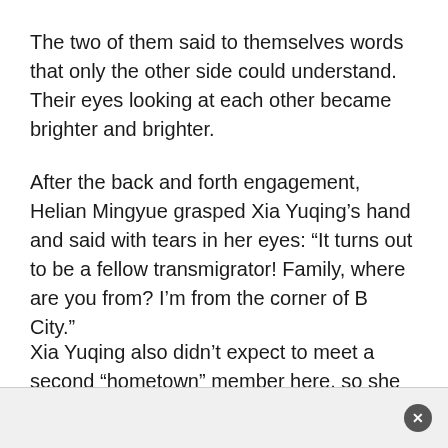The two of them said to themselves words that only the other side could understand. Their eyes looking at each other became brighter and brighter.
After the back and forth engagement, Helian Mingyue grasped Xia Yuqing's hand and said with tears in her eyes: “It turns out to be a fellow transmigrator! Family, where are you from? I’m from the corner of B City.”
Xia Yuqing also didn’t expect to meet a second “hometown” member here, so she also had a burst of excitement. However,